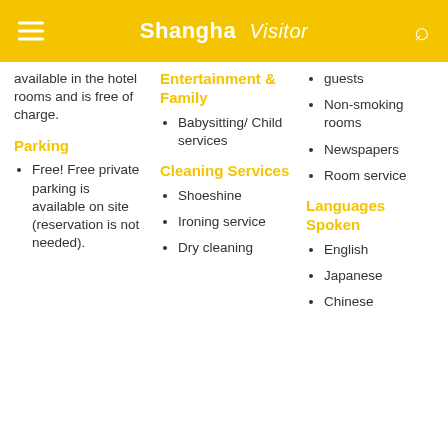Shanghai Visitor
available in the hotel rooms and is free of charge.
Parking
Free! Free private parking is available on site (reservation is not needed).
Entertainment & Family
Babysitting/Child services
Cleaning Services
Shoeshine
Ironing service
Dry cleaning
guests
Non-smoking rooms
Newspapers
Room service
Languages Spoken
English
Japanese
Chinese